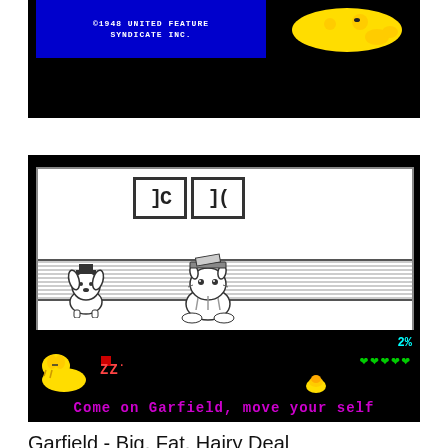[Figure (screenshot): Top portion of a Garfield video game screenshot showing blue band with text '©1948 UNITED FEATURE SYNDICATE INC.' and yellow Garfield character on black background]
[Figure (screenshot): Garfield video game screenshot showing two score boxes with double-C symbols, two characters (a dog and Garfield) in a checkered arena, and HUD with yellow Garfield sleeping with ZZ, energy percentage 2%, green hearts, cyan food item, and magenta text 'Come on Garfield, move your self']
Garfield - Big, Fat, Hairy Deal